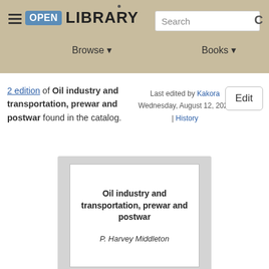Open Library — Browse | Books | Search
2 edition of Oil industry and transportation, prewar and postwar found in the catalog.
Last edited by Kakora
Wednesday, August 12, 2020 | History
Edit
[Figure (illustration): Book cover placeholder card showing title 'Oil industry and transportation, prewar and postwar' and author 'P. Harvey Middleton' on a grey background with white inner card.]